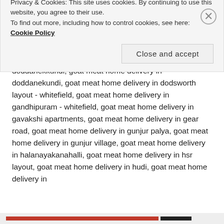chinnapanahalli, goat meat home delivery in devarabeesanahalli, goat meat home delivery in devarachikkana halli, goat meat home delivery in dlf newtown, goat meat home delivery in doddakannelli - sarjapur main rd, goat meat home delivery in doddanekkundi, goat meat home delivery in doddanekundi, goat meat home delivery in dodsworth layout - whitefield, goat meat home delivery in gandhipuram - whitefield, goat meat home delivery in gavakshi apartments, goat meat home delivery in gear road, goat meat home delivery in gunjur palya, goat meat home delivery in gunjur village, goat meat home delivery in halanayakanahalli, goat meat home delivery in hsr layout, goat meat home delivery in hudi, goat meat home delivery in
Privacy & Cookies: This site uses cookies. By continuing to use this website, you agree to their use. To find out more, including how to control cookies, see here: Cookie Policy